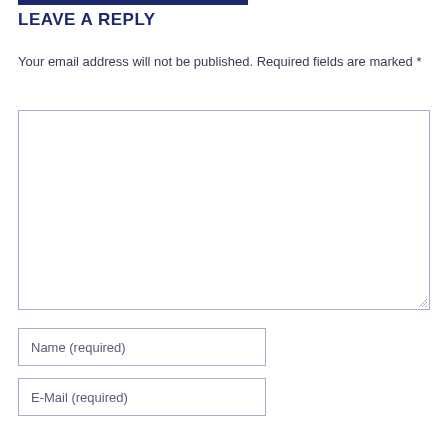LEAVE A REPLY
Your email address will not be published. Required fields are marked *
[Figure (other): Large text area input field for comment reply]
[Figure (other): Name input field labeled 'Name (required)']
[Figure (other): E-Mail input field labeled 'E-Mail (required)']